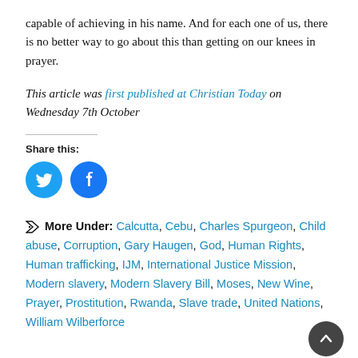capable of achieving in his name. And for each one of us, there is no better way to go about this than getting on our knees in prayer.
This article was first published at Christian Today on Wednesday 7th October
Share this:
[Figure (other): Twitter and Facebook share icon buttons (circular icons)]
More Under: Calcutta, Cebu, Charles Spurgeon, Child abuse, Corruption, Gary Haugen, God, Human Rights, Human trafficking, IJM, International Justice Mission, Modern slavery, Modern Slavery Bill, Moses, New Wine, Prayer, Prostitution, Rwanda, Slave trade, United Nations, William Wilberforce